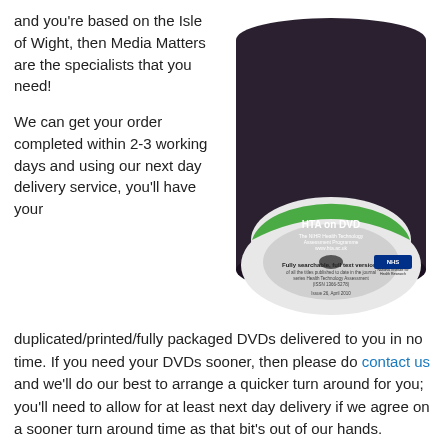and you're based on the Isle of Wight, then Media Matters are the specialists that you need!
[Figure (photo): A spindle stack of DVDs. The front DVD has a label reading 'HTA on DVD – The NIHR Health Technology Assessment Programme – www.hta.ac.uk – Fully searchable, full text versions of all the titles published to date in the journal series Health Technology Assessment (ISSN 1366-5278) – Issue 26, April 2010 – NHS National Institute for Health Research']
We can get your order completed within 2-3 working days and using our next day delivery service, you'll have your
duplicated/printed/fully packaged DVDs delivered to you in no time. If you need your DVDs sooner, then please do contact us and we'll do our best to arrange a quicker turn around for you; you'll need to allow for at least next day delivery if we agree on a sooner turn around time as that bit's out of our hands.
If you're based on the Isle of Wight, then you will recieve the following as standard when you place any DVD duplication order with us: